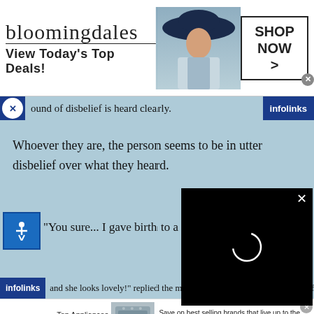[Figure (screenshot): Bloomingdale's banner advertisement: logo text 'bloomingdales', tagline 'View Today's Top Deals!', model photo with hat, 'SHOP NOW >' button in bordered box]
ound of disbelief is heard clearly.
Whoever they are, the person seems to be in utter disbelief over what they heard.
"You sure... I gave birth to a
[Figure (screenshot): Black video player overlay with loading spinner circle and X close button]
and she looks lovely!" replied the midwife, fu of
[Figure (screenshot): Wayfair advertisement: 'Top Appliances Low Prices', appliance image, 'Save on best selling brands that live up to the hype', purple 'Shop now' button]